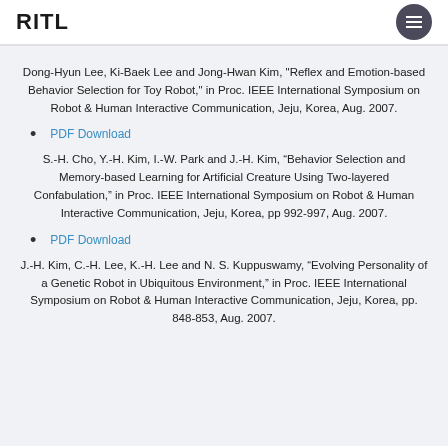RITL
Dong-Hyun Lee, Ki-Baek Lee and Jong-Hwan Kim, "Reflex and Emotion-based Behavior Selection for Toy Robot," in Proc. IEEE International Symposium on Robot & Human Interactive Communication, Jeju, Korea, Aug. 2007.
PDF Download
S.-H. Cho, Y.-H. Kim, I.-W. Park and J.-H. Kim, “Behavior Selection and Memory-based Learning for Artificial Creature Using Two-layered Confabulation,” in Proc. IEEE International Symposium on Robot & Human Interactive Communication, Jeju, Korea, pp 992-997, Aug. 2007.
PDF Download
J.-H. Kim, C.-H. Lee, K.-H. Lee and N. S. Kuppuswamy, “Evolving Personality of a Genetic Robot in Ubiquitous Environment,” in Proc. IEEE International Symposium on Robot & Human Interactive Communication, Jeju, Korea, pp. 848-853, Aug. 2007.